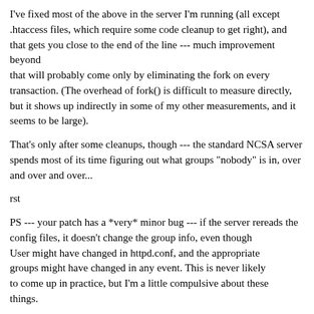I've fixed most of the above in the server I'm running (all except .htaccess files, which require some code cleanup to get right), and that gets you close to the end of the line --- much improvement beyond that will probably come only by eliminating the fork on every transaction. (The overhead of fork() is difficult to measure directly, but it shows up indirectly in some of my other measurements, and it seems to be large).
That's only after some cleanups, though --- the standard NCSA server spends most of its time figuring out what groups "nobody" is in, over and over and over...
rst
PS --- your patch has a *very* minor bug --- if the server rereads the config files, it doesn't change the group info, even though User might have changed in httpd.conf, and the appropriate groups might have changed in any event. This is never likely to come up in practice, but I'm a little compulsive about these things.